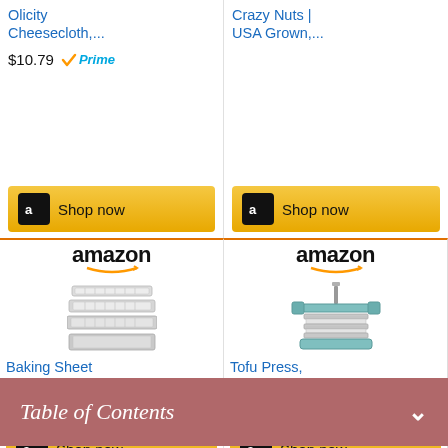[Figure (screenshot): Amazon product listing: Olicity Cheesecloth, priced $10.79 with Prime badge, Shop now button]
[Figure (screenshot): Amazon product listing: Crazy Nuts | USA Grown,..., Shop now button]
[Figure (screenshot): Amazon product listing: Baking Sheet with Rack Set..., priced $57.66, Shop now button]
[Figure (screenshot): Amazon product listing: Tofu Press, WECATION..., priced $18.99 with Prime badge, Shop now button]
Table of Contents